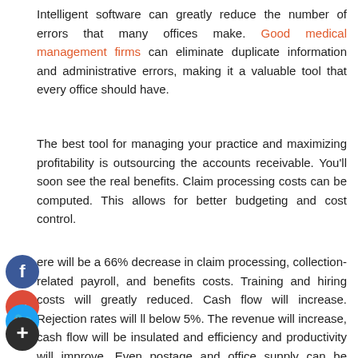Intelligent software can greatly reduce the number of errors that many offices make. Good medical management firms can eliminate duplicate information and administrative errors, making it a valuable tool that every office should have.
The best tool for managing your practice and maximizing profitability is outsourcing the accounts receivable. You'll soon see the real benefits. Claim processing costs can be computed. This allows for better budgeting and cost control.
There will be a 66% decrease in claim processing, collection-related payroll, and benefits costs. Training and hiring costs will greatly reduced. Cash flow will increase. Rejection rates will fall below 5%. The revenue will increase, cash flow will be insulated and efficiency and productivity will improve. Even postage and office supply can be reduced.
[Figure (infographic): Four social media icon circles stacked vertically on the left side: Facebook (blue, 'f'), Google+ (red, 'g+'), Twitter (light blue, bird icon), and Add/Plus (dark, '+') buttons]